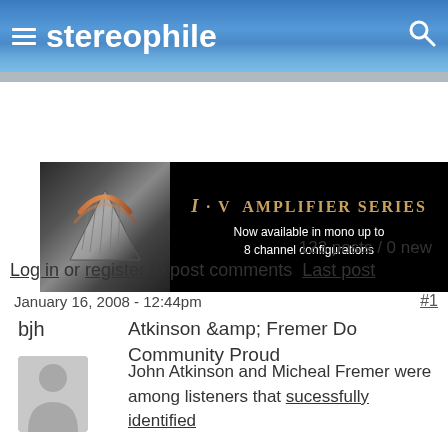stereophile
[Figure (photo): i·V Amplifier Series advertisement banner. Dark background with a triangular/wedge shaped audio component on the left. Text reads: i·V AMPLIFIER SERIES - Now available in mono up to 8 channel configurations]
123 posts / 0 new
Log in or register to post comments  Last post
January 16, 2008 - 12:44pm
#1
bjh
Atkinson &amp; Fremer Do Community Proud
[Figure (photo): Default user avatar silhouette in gray]
John Atkinson and Micheal Fremer were among listeners that sucessfully identified